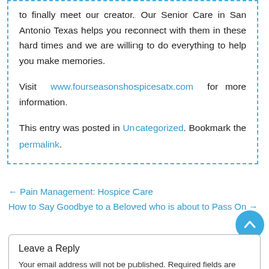to finally meet our creator. Our Senior Care in San Antonio Texas helps you reconnect with them in these hard times and we are willing to do everything to help you make memories.
Visit www.fourseasonshospicesatx.com for more information.
This entry was posted in Uncategorized. Bookmark the permalink.
← Pain Management: Hospice Care
How to Say Goodbye to a Beloved who is about to Pass On →
Leave a Reply
Your email address will not be published. Required fields are